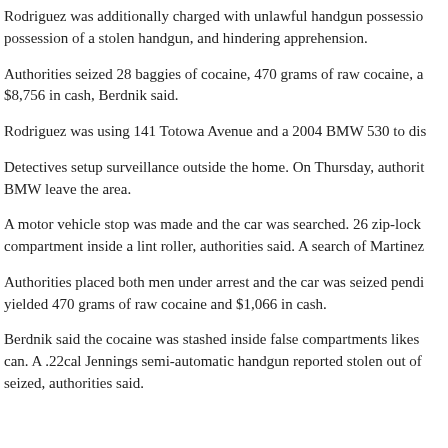Rodriguez was additionally charged with unlawful handgun possession, possession of a stolen handgun, and hindering apprehension.
Authorities seized 28 baggies of cocaine, 470 grams of raw cocaine, a $8,756 in cash, Berdnik said.
Rodriguez was using 141 Totowa Avenue and a 2004 BMW 530 to dis
Detectives setup surveillance outside the home. On Thursday, authorities BMW leave the area.
A motor vehicle stop was made and the car was searched. 26 zip-lock compartment inside a lint roller, authorities said. A search of Martinez
Authorities placed both men under arrest and the car was seized pending yielded 470 grams of raw cocaine and $1,066 in cash.
Berdnik said the cocaine was stashed inside false compartments likes can. A .22cal Jennings semi-automatic handgun reported stolen out of seized, authorities said.